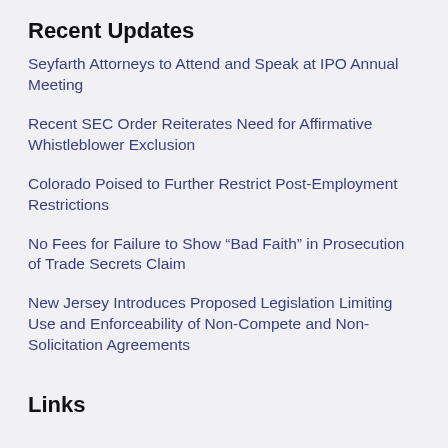Recent Updates
Seyfarth Attorneys to Attend and Speak at IPO Annual Meeting
Recent SEC Order Reiterates Need for Affirmative Whistleblower Exclusion
Colorado Poised to Further Restrict Post-Employment Restrictions
No Fees for Failure to Show “Bad Faith” in Prosecution of Trade Secrets Claim
New Jersey Introduces Proposed Legislation Limiting Use and Enforceability of Non-Compete and Non-Solicitation Agreements
Links